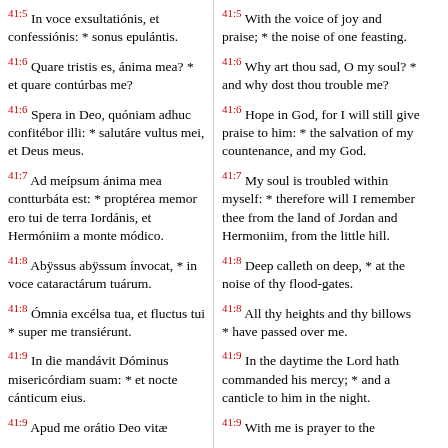41:5 In voce exsultationis, et confessionis: * sonus epulantis.
41:6 Quare tristis es, anima mea? * et quare conturrbas me?
41:6 Spera in Deo, quoniam adhuc confitebor illi: * salutare vultus mei, et Deus meus.
41:7 Ad meipsum anima mea conturbata est: * propterea memor ero tui de terra Iordanis, et Hermoniim a monte modico.
41:8 Abyssus abyssum invocat, * in voce cataractarum tuarum.
41:8 Omnia excelsa tua, et fluctus tui * super me transierunt.
41:9 In die mandavit Dominus misericordiam suam: * et nocte canticum eius.
41:9 Apud me oratio Deo vitae
41:5 With the voice of joy and praise; * the noise of one feasting.
41:6 Why art thou sad, O my soul? * and why dost thou trouble me?
41:6 Hope in God, for I will still give praise to him: * the salvation of my countenance, and my God.
41:7 My soul is troubled within myself: * therefore will I remember thee from the land of Jordan and Hermoniim, from the little hill.
41:8 Deep calleth on deep, * at the noise of thy flood-gates.
41:8 All thy heights and thy billows * have passed over me.
41:9 In the daytime the Lord hath commanded his mercy; * and a canticle to him in the night.
41:9 With me is prayer to the